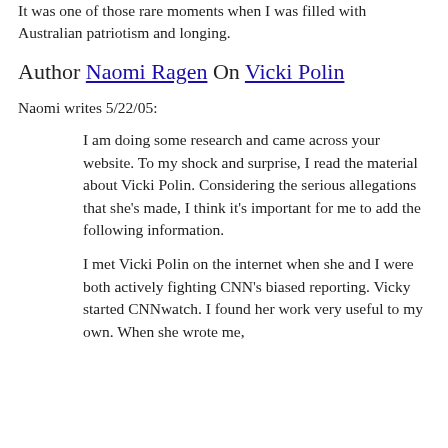It was one of those rare moments when I was filled with Australian patriotism and longing.
Author Naomi Ragen On Vicki Polin
Naomi writes 5/22/05:
I am doing some research and came across your website. To my shock and surprise, I read the material about Vicki Polin. Considering the serious allegations that she's made, I think it's important for me to add the following information.
I met Vicki Polin on the internet when she and I were both actively fighting CNN's biased reporting. Vicky started CNNwatch. I found her work very useful to my own. When she wrote me,